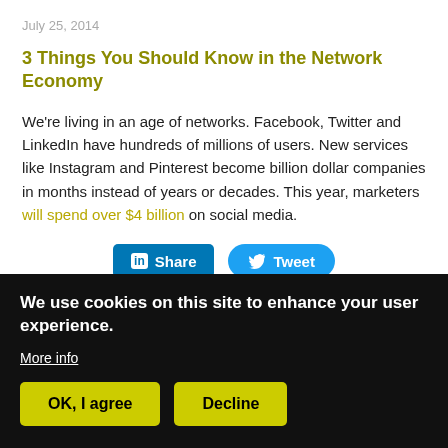July 25, 2014
3 Things You Should Know in the Network Economy
We're living in an age of networks. Facebook, Twitter and LinkedIn have hundreds of millions of users. New services like Instagram and Pinterest become billion dollar companies in months instead of years or decades. This year, marketers will spend over $4 billion on social media.
[Figure (other): LinkedIn Share button and Twitter Tweet button]
Continue Reading
We use cookies on this site to enhance your user experience.
More info
OK, I agree
Decline